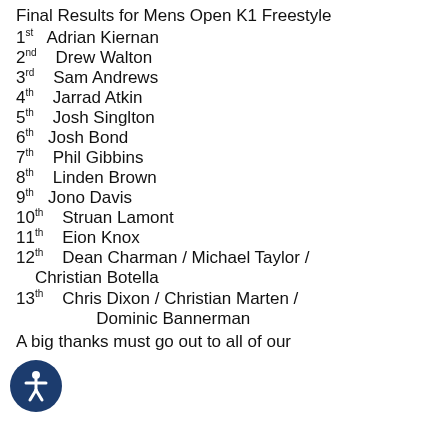Final Results for Mens Open K1 Freestyle
1st Adrian Kiernan
2nd Drew Walton
3rd Sam Andrews
4th Jarrad Atkin
5th Josh Singlton
6th Josh Bond
7th Phil Gibbins
8th Linden Brown
9th Jono Davis
10th Struan Lamont
11th Eion Knox
12th Dean Charman / Michael Taylor / Christian Botella
13th Chris Dixon / Christian Marten / Dominic Bannerman
A big thanks must go out to all of our